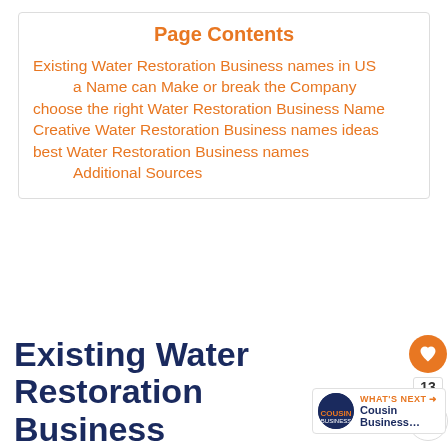Page Contents
Existing Water Restoration Business names in US
a Name can Make or break the Company
choose the right Water Restoration Business Name
Creative Water Restoration Business names ideas
best Water Restoration Business names
Additional Sources
Existing Water Restoration Business